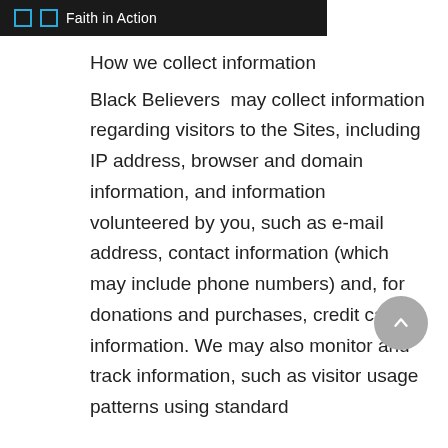Faith in Action
How we collect information
Black Believers  may collect information regarding visitors to the Sites, including IP address, browser and domain information, and information volunteered by you, such as e-mail address, contact information (which may include phone numbers) and, for donations and purchases, credit card information. We may also monitor and track information, such as visitor usage patterns using standard